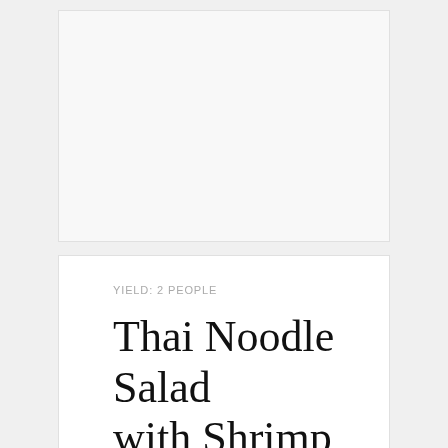[Figure (photo): Advertisement or blank placeholder area at top of page]
YIELD: 2 PEOPLE
Thai Noodle Salad with Shrimp
[Figure (photo): Food photo showing Thai Noodle Salad with Shrimp — noodles in foreground with a small bowl and cup visible]